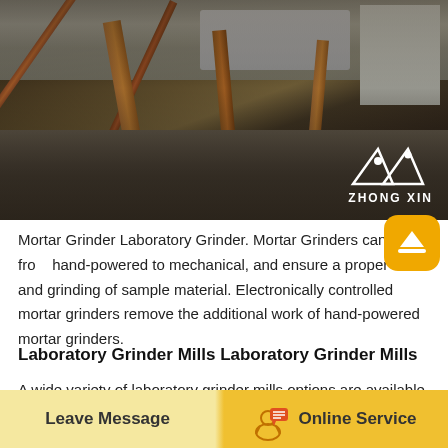[Figure (photo): Industrial mining/crushing equipment site with steel beams, heavy machinery and gravel ground. ZHONG XIN logo visible in bottom-right corner of the photo.]
Mortar Grinder Laboratory Grinder. Mortar Grinders can range from hand-powered to mechanical, and ensure a proper mix and grinding of sample material. Electronically controlled mortar grinders remove the additional work of hand-powered mortar grinders.
Laboratory Grinder Mills Laboratory Grinder Mills
A wide variety of laboratory grinder mills options are available to you, such as competitive price, high accuracy, and easy to operate. You can
Leave Message    Online Service